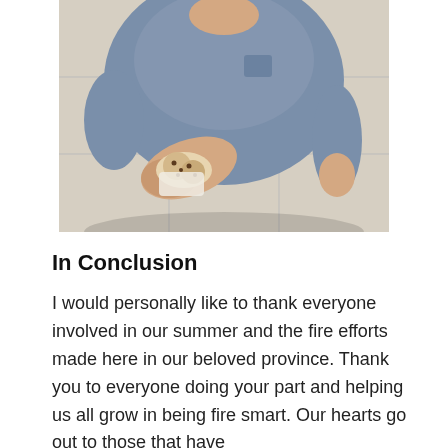[Figure (photo): A child in a blue sleeveless shirt holding out a cookie or small baked good toward the camera, photographed from above.]
In Conclusion
I would personally like to thank everyone involved in our summer and the fire efforts made here in our beloved province. Thank you to everyone doing your part and helping us all grow in being fire smart. Our hearts go out to those that have